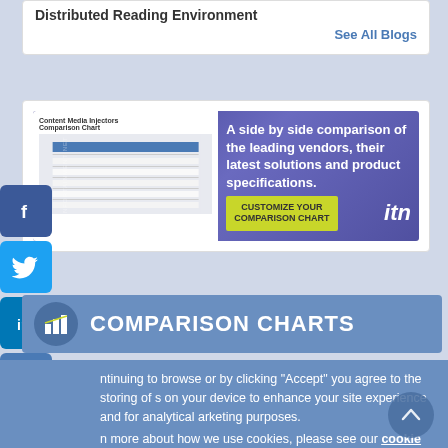Distributed Reading Environment
See All Blogs
[Figure (infographic): Advertisement banner for ITN comparison charts: 'A side by side comparison of the leading vendors, their latest solutions and product specifications. CUSTOMIZE YOUR COMPARISON CHART' with ITN logo.]
[Figure (infographic): Social media share buttons: Facebook, Twitter, LinkedIn, Print, and Add (+) icons on left side]
COMPARISON CHARTS
ntinuing to browse or by clicking “Accept” you agree to the storing of s on your device to enhance your site experience and for analytical arketing purposes.
n more about how we use cookies, please see our cookie policy.
OK, I agree
No, thanks